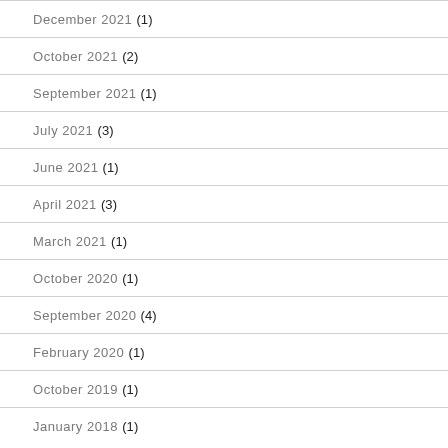December 2021 (1)
October 2021 (2)
September 2021 (1)
July 2021 (3)
June 2021 (1)
April 2021 (3)
March 2021 (1)
October 2020 (1)
September 2020 (4)
February 2020 (1)
October 2019 (1)
January 2018 (1)